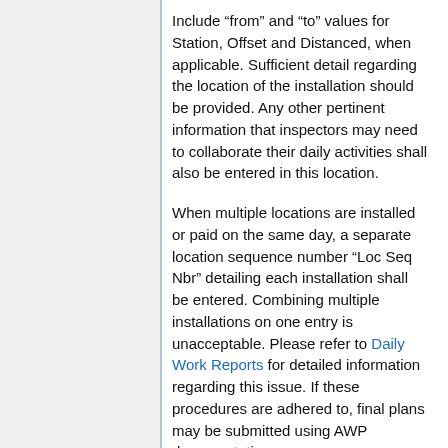Include “from” and “to” values for Station, Offset and Distanced, when applicable. Sufficient detail regarding the location of the installation should be provided. Any other pertinent information that inspectors may need to collaborate their daily activities shall also be entered in this location.
When multiple locations are installed or paid on the same day, a separate location sequence number “Loc Seq Nbr” detailing each installation shall be entered. Combining multiple installations on one entry is unacceptable. Please refer to Daily Work Reports for detailed information regarding this issue. If these procedures are adhered to, final plans may be submitted using AWP documentation.